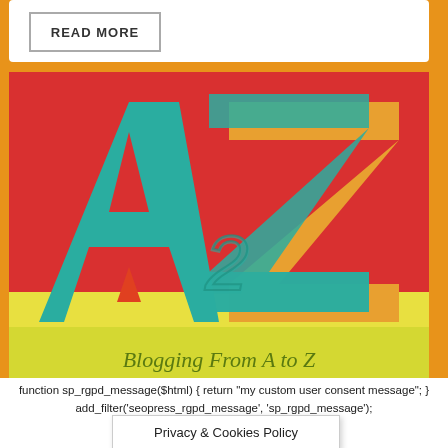READ MORE
[Figure (logo): A2Z Blogging From A to Z challenge logo with large teal letters A and Z on a red and yellow background with smaller letters and '2' in the center]
Blogging From A to Z
function sp_rgpd_message($html) { return "my custom user consent message"; } add_filter('seopress_rgpd_message', 'sp_rgpd_message');
ACCEPT
X
Privacy & Cookies Policy